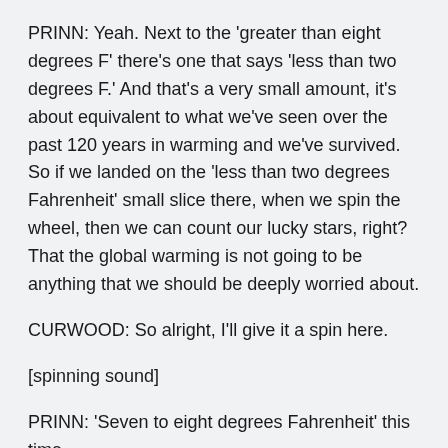PRINN: Yeah. Next to the 'greater than eight degrees F' there's one that says 'less than two degrees F.' And that's a very small amount, it's about equivalent to what we've seen over the past 120 years in warming and we've survived. So if we landed on the 'less than two degrees Fahrenheit' small slice there, when we spin the wheel, then we can count our lucky stars, right? That the global warming is not going to be anything that we should be deeply worried about.
CURWOOD: So alright, I'll give it a spin here.
[spinning sound]
PRINN: 'Seven to eight degrees Fahrenheit' this time.
CURWOOD: Oh my. So what does that mean?
PRINN: Well, this is the outcome that nobody would